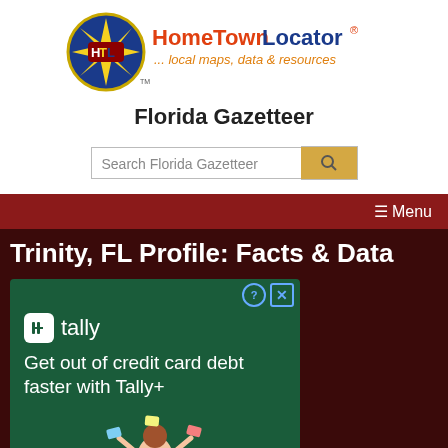[Figure (logo): HomeTownLocator logo: HTL compass rose badge with text 'HomeTownLocator® ... local maps, data & resources']
Florida Gazetteer
[Figure (screenshot): Search bar with placeholder text 'Search Florida Gazetteer' and a search button with magnifying glass icon]
☰ Menu
Trinity, FL Profile: Facts & Data
[Figure (screenshot): Tally advertisement: 'Get out of credit card debt faster with Tally+' with Tally logo and illustration of person juggling cards]